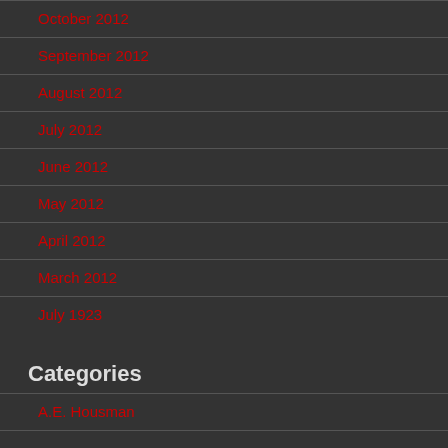October 2012
September 2012
August 2012
July 2012
June 2012
May 2012
April 2012
March 2012
July 1923
Categories
A.E. Housman